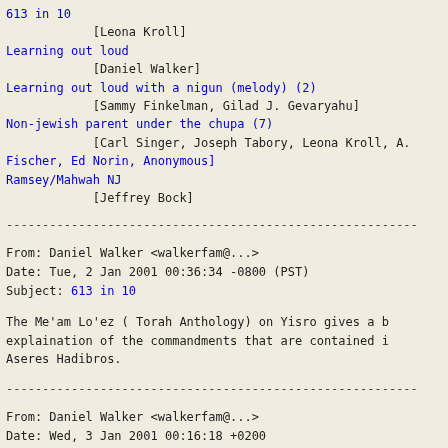613 in 10
            [Leona Kroll]
Learning out loud
            [Daniel Walker]
Learning out loud with a nigun (melody) (2)
            [Sammy Finkelman, Gilad J. Gevaryahu]
Non-jewish parent under the chupa (7)
            [Carl Singer, Joseph Tabory, Leona Kroll, A. Fischer, Ed Norin, Anonymous]
Ramsey/Mahwah NJ
            [Jeffrey Bock]
-----------------------------------------------------------
From: Leona Kroll <leona_kroll@...>
Date: Tue, 2 Jan 2001 00:36:34 -0800 (PST)
Subject: 613 in 10
The Me'am Lo'ez ( Torah Anthology) on Yisro gives a b explaination of the commandments that are contained i Aseres Hadibros.
-----------------------------------------------------------
From: Daniel Walker <walkerfam@...>
Date: Wed, 3 Jan 2001 00:16:18 +0200
Subject: Learning out loud